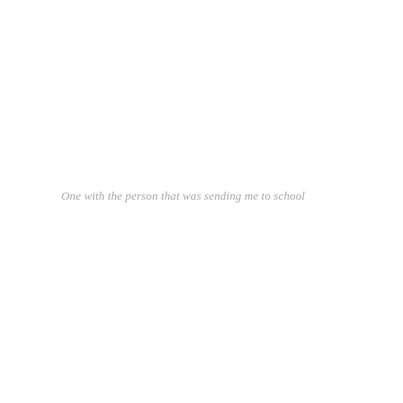One with the person that was sending me to school